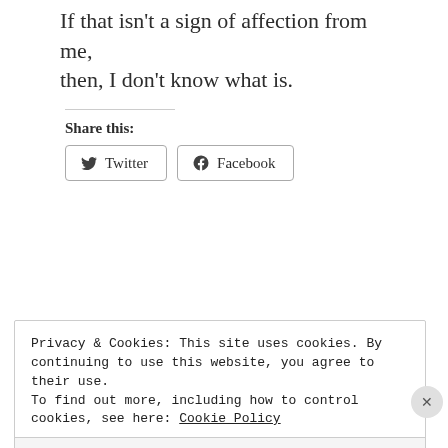If that isn't a sign of affection from me, then, I don't know what is.
Share this:
Twitter  Facebook
Privacy & Cookies: This site uses cookies. By continuing to use this website, you agree to their use.
To find out more, including how to control cookies, see here: Cookie Policy
Close and accept